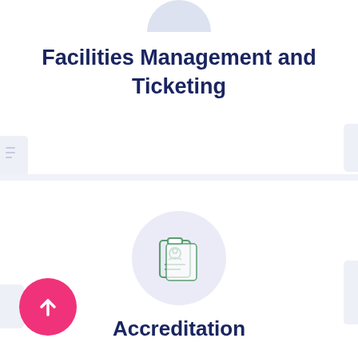[Figure (illustration): Partial circle icon at top center (cropped), light blue-grey circle background, representing a module icon]
Facilities Management and Ticketing
[Figure (illustration): Green outline icon of an ID badge / accreditation card with a person silhouette, on a light lavender circular background]
Accreditation
[Figure (illustration): Pink circular FAB button with white upward arrow]